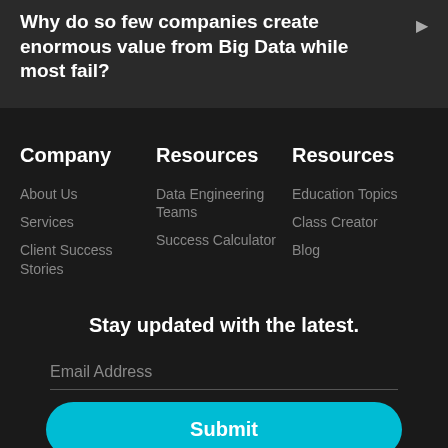Why do so few companies create enormous value from Big Data while most fail?
Company
About Us
Services
Client Success Stories
Resources
Data Engineering Teams
Success Calculator
Resources
Education Topics
Class Creator
Blog
Stay updated with the latest.
Email Address
Submit